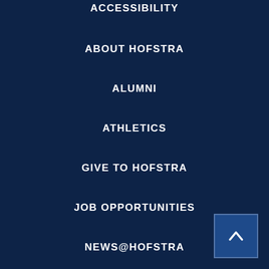ACCESSIBILITY
ABOUT HOFSTRA
ALUMNI
ATHLETICS
GIVE TO HOFSTRA
JOB OPPORTUNITIES
NEWS@HOFSTRA